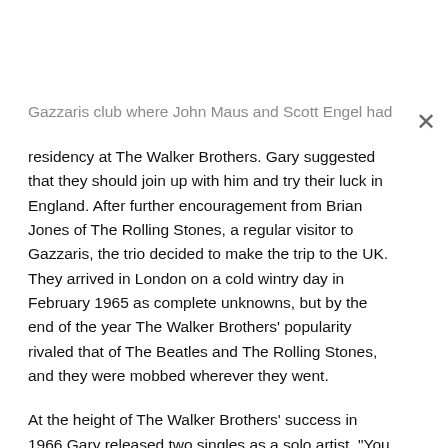Gazzaris club where John Maus and Scott Engel had a residency at The Walker Brothers. Gary suggested that they should join up with him and try their luck in England. After further encouragement from Brian Jones of The Rolling Stones, a regular visitor to Gazzaris, the trio decided to make the trip to the UK. They arrived in London on a cold wintry day in February 1965 as complete unknowns, but by the end of the year The Walker Brothers' popularity rivaled that of The Beatles and The Rolling Stones, and they were mobbed wherever they went.
At the height of The Walker Brothers' success in 1966 Gary released two singles as a solo artist, "You Don't Love Me" and "Twinkie-Lee", both of which peaked at No 26 in the charts. Three major UK tours took place during 1966 and 1967 but, after the third one, the group announced that they were splitting up to follow their individual careers.